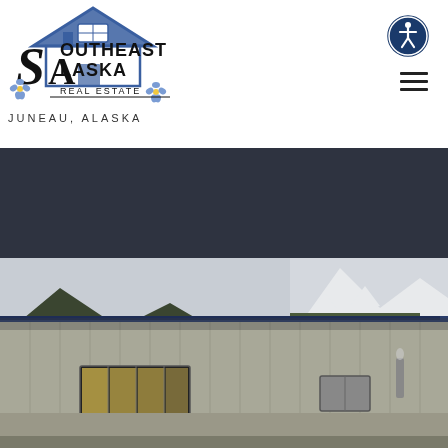[Figure (logo): Southeast Alaska Real Estate logo with house graphic and blue/black text, flowers decoration]
JUNEAU, ALASKA
[Figure (other): Circular accessibility icon with wheelchair symbol in blue and white]
[Figure (other): Hamburger menu icon with three horizontal lines]
[Figure (other): Dark navy/charcoal banner area]
[Figure (photo): Photo of a commercial/industrial building with metal siding, windows with interior lights visible, snow-covered forested mountain in background, overcast sky]